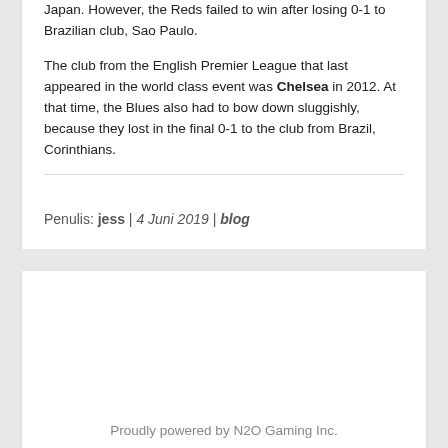Japan. However, the Reds failed to win after losing 0-1 to Brazilian club, Sao Paulo.
The club from the English Premier League that last appeared in the world class event was Chelsea in 2012. At that time, the Blues also had to bow down sluggishly, because they lost in the final 0-1 to the club from Brazil, Corinthians.
Penulis: jess | 4 Juni 2019 | blog
Proudly powered by N2O Gaming Inc.
Copyright © 2022 Sportsblogasia.com. All rights reserved.